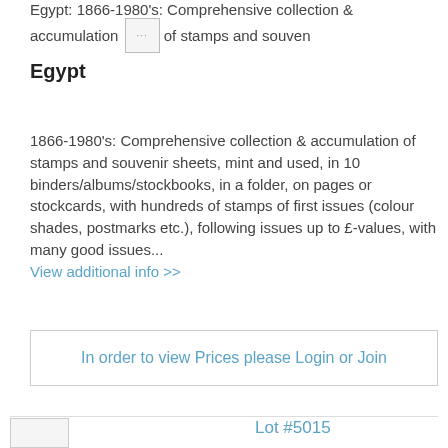Egypt: 1866-1980's: Comprehensive collection & accumulation of stamps and souven
Egypt
1866-1980's: Comprehensive collection & accumulation of stamps and souvenir sheets, mint and used, in 10 binders/albums/stockbooks, in a folder, on pages or stockcards, with hundreds of stamps of first issues (colour shades, postmarks etc.), following issues up to £-values, with many good issues... View additional info >>
In order to view Prices please Login or Join
Lot #5015